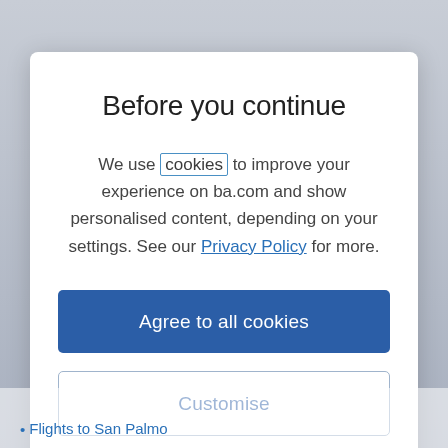Before you continue
We use cookies to improve your experience on ba.com and show personalised content, depending on your settings. See our Privacy Policy for more.
Agree to all cookies
Customise
Flights to San Palmo